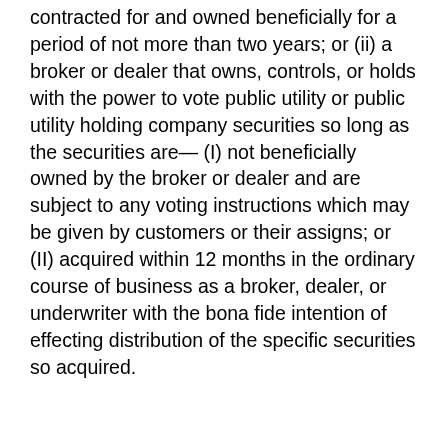contracted for and owned beneficially for a period of not more than two years; or (ii) a broker or dealer that owns, controls, or holds with the power to vote public utility or public utility holding company securities so long as the securities are— (I) not beneficially owned by the broker or dealer and are subject to any voting instructions which may be given by customers or their assigns; or (II) acquired within 12 months in the ordinary course of business as a broker, dealer, or underwriter with the bona fide intention of effecting distribution of the specific securities so acquired.